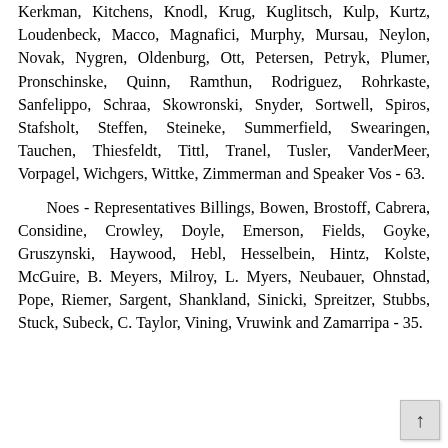Kerkman, Kitchens, Knodl, Krug, Kuglitsch, Kulp, Kurtz, Loudenbeck, Macco, Magnafici, Murphy, Mursau, Neylon, Novak, Nygren, Oldenburg, Ott, Petersen, Petryk, Plumer, Pronschinske, Quinn, Ramthun, Rodriguez, Rohrkaste, Sanfelippo, Schraa, Skowronski, Snyder, Sortwell, Spiros, Stafsholt, Steffen, Steineke, Summerfield, Swearingen, Tauchen, Thiesfeldt, Tittl, Tranel, Tusler, VanderMeer, Vorpagel, Wichgers, Wittke, Zimmerman and Speaker Vos - 63.
Noes - Representatives Billings, Bowen, Brostoff, Cabrera, Considine, Crowley, Doyle, Emerson, Fields, Goyke, Gruszynski, Haywood, Hebl, Hesselbein, Hintz, Kolste, McGuire, B. Meyers, Milroy, L. Myers, Neubauer, Ohnstad, Pope, Riemer, Sargent, Shankland, Sinicki, Spreitzer, Stubbs, Stuck, Subeck, C. Taylor, Vining, Vruwink and Zamarripa - 35.